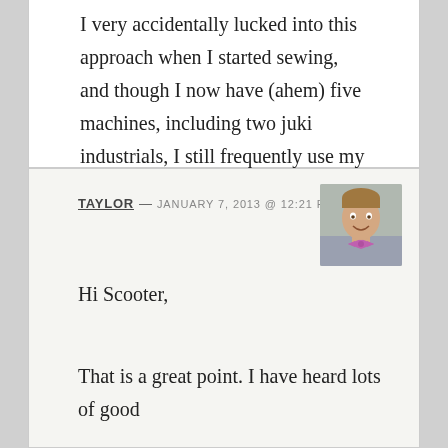I very accidentally lucked into this approach when I started sewing, and though I now have (ahem) five machines, including two juki industrials, I still frequently use my 60-pound pfaff from 1953. It purrs like a kitten, will handle anything from chiffon to five layers of midweight denim, and is absolutely reliable, with basic maintenance. Completely worth the fifty bucks and a great way to get started.
TAYLOR — JANUARY 7, 2013 @ 12:21 PM
[Figure (photo): Avatar photo of Taylor — a smiling man wearing a pink/purple bow tie]
Hi Scooter,
That is a great point. I have heard lots of good